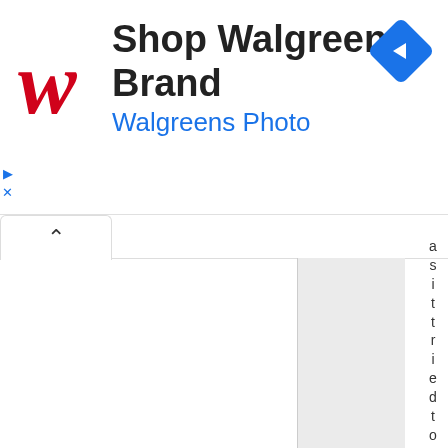[Figure (screenshot): Walgreens Brand advertisement banner with red cursive W logo, bold title 'Shop Walgreens Brand', blue subtitle 'Walgreens Photo', and a blue diamond navigation icon at top right. Play and close controls at bottom left.]
[Figure (screenshot): Web page UI showing an upward-pointing chevron tab, a two-column layout with white and light gray panels, and vertically-rendered text reading 'a s i t t r i e d t o w r i t e t' along the right edge.]